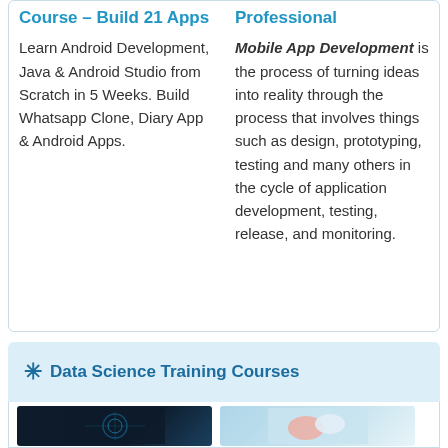Course – Build 21 Apps
Learn Android Development, Java & Android Studio from Scratch in 5 Weeks. Build Whatsapp Clone, Diary App & Android Apps.
Professional Mobile App Development is the process of turning ideas into reality through the process that involves things such as design, prototyping, testing and many others in the cycle of application development, testing, release, and monitoring.
✳ Data Science Training Courses
[Figure (photo): Dark background image with data visualization elements, partially visible at bottom of page]
[Figure (illustration): Light blue background illustration, partially visible at bottom of page]